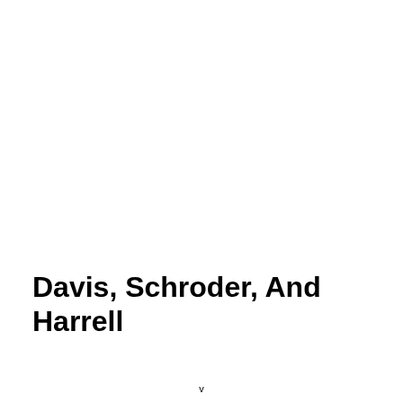Davis, Schroder, And Harrell
v